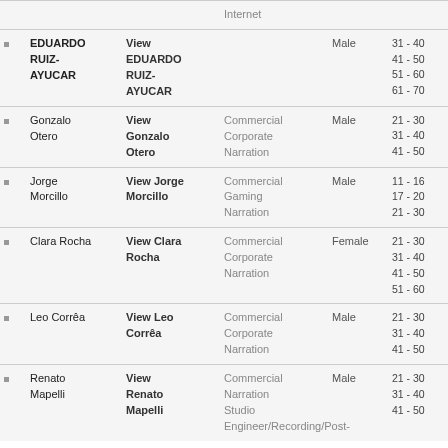|  | Name | View | Category | Gender | Age |
| --- | --- | --- | --- | --- | --- |
| • | EDUARDO RUIZ-AYUCAR | View EDUARDO RUIZ-AYUCAR | Internet | Male | 31 - 40
41 - 50
51 - 60
61 - 70 |
| • | Gonzalo Otero | View Gonzalo Otero | Commercial
Corporate
Narration | Male | 21 - 30
31 - 40
41 - 50 |
| • | Jorge Morcillo | View Jorge Morcillo | Commercial
Gaming
Narration | Male | 11 - 16
17 - 20
21 - 30 |
| • | Clara Rocha | View Clara Rocha | Commercial
Corporate
Narration | Female | 21 - 30
31 - 40
41 - 50
51 - 60 |
| • | Leo Corrêa | View Leo Corrêa | Commercial
Corporate
Narration | Male | 21 - 30
31 - 40
41 - 50 |
| • | Renato Mapelli | View Renato Mapelli | Commercial
Narration
Studio
Engineer/Recording/Post- | Male | 21 - 30
31 - 40
41 - 50 |